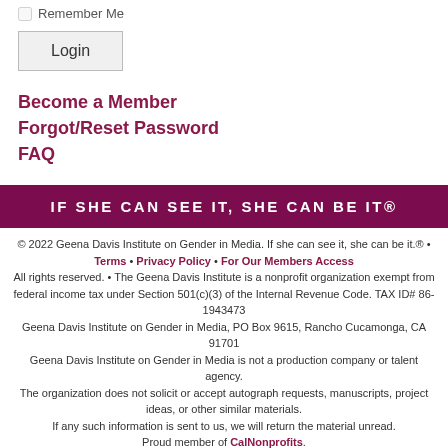Remember Me
Login
Become a Member
Forgot/Reset Password
FAQ
IF SHE CAN SEE IT, SHE CAN BE IT®
© 2022 Geena Davis Institute on Gender in Media. If she can see it, she can be it.® • Terms • Privacy Policy • For Our Members Access All rights reserved. • The Geena Davis Institute is a nonprofit organization exempt from federal income tax under Section 501(c)(3) of the Internal Revenue Code. TAX ID# 86-1943473 Geena Davis Institute on Gender in Media, PO Box 9615, Rancho Cucamonga, CA 91701 Geena Davis Institute on Gender in Media is not a production company or talent agency. The organization does not solicit or accept autograph requests, manuscripts, project ideas, or other similar materials. If any such information is sent to us, we will return the material unread. Proud member of CalNonprofits.
[Figure (logo): CalNonprofits orange circular badge with bird illustration and text 'PROUD MEMBER OF CalNonprofits']